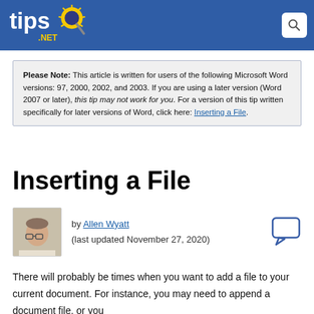tips.net
Please Note: This article is written for users of the following Microsoft Word versions: 97, 2000, 2002, and 2003. If you are using a later version (Word 2007 or later), this tip may not work for you. For a version of this tip written specifically for later versions of Word, click here: Inserting a File.
Inserting a File
by Allen Wyatt
(last updated November 27, 2020)
There will probably be times when you want to add a file to your current document. For instance, you may need to append a document file, or you